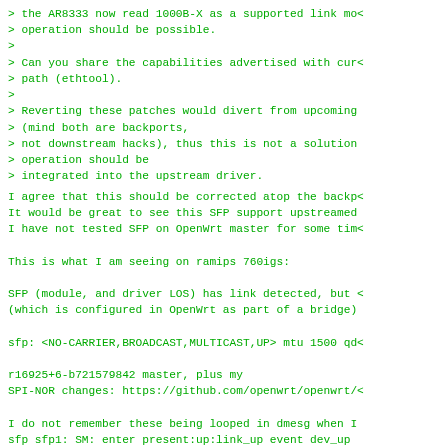> the AR8333 now read 1000B-X as a supported link mo
> operation should be possible.
>
> Can you share the capabilities advertised with cur
> path (ethtool).
>
> Reverting these patches would divert from upcoming
> (mind both are backports,
> not downstream hacks), thus this is not a solution
> operation should be
> integrated into the upstream driver.
I agree that this should be corrected atop the backp
It would be great to see this SFP support upstreamed
I have not tested SFP on OpenWrt master for some tim

This is what I am seeing on ramips 760igs:

SFP (module, and driver LOS) has link detected, but
(which is configured in OpenWrt as part of a bridge)

sfp: <NO-CARRIER,BROADCAST,MULTICAST,UP> mtu 1500 qd

r16925+6-b721579842 master, plus my
SPI-NOR changes: https://github.com/openwrt/openwrt/

I do not remember these being looped in dmesg when I
sfp sfp1: SM: enter present:up:link_up event dev_up
sfp sfp1: SM: exit present:up:link_up

ethtool sfp
Setting sf...